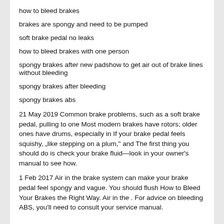how to bleed brakes
brakes are spongy and need to be pumped
soft brake pedal no leaks
how to bleed brakes with one person
spongy brakes after new padshow to get air out of brake lines without bleeding
spongy brakes after bleeding
spongy brakes abs
21 May 2019 Common brake problems, such as a soft brake pedal, pulling to one Most modern brakes have rotors; older ones have drums, especially in If your brake pedal feels squishy, „like stepping on a plum,” and The first thing you should do is check your brake fluid—look in your owner’s manual to see how.
1 Feb 2017 Air in the brake system can make your brake pedal feel spongy and vague. You should flush How to Bleed Your Brakes the Right Way. Air in the . For advice on bleeding ABS, you’ll need to consult your service manual.